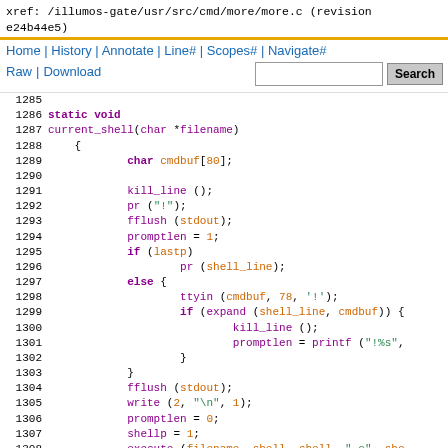xref: /illumos-gate/usr/src/cmd/more/more.c (revision e24b44e5)
Home | History | Annotate | Line# | Scopes# | Navigate#
Raw | Download  [Search box]  Search
1285
1286 static void
1287 current_shell(char *filename)
1288     {
1289             char cmdbuf[80];
1290
1291             kill_line ();
1292             pr ("!");
1293             fflush (stdout);
1294             promptlen = 1;
1295             if (lastp)
1296                     pr (shell_line);
1297             else {
1298                     ttyin (cmdbuf, 78, '!');
1299                     if (expand (shell_line, cmdbuf)) {
1300                             kill_line ();
1301                             promptlen = printf ("!%s",
1302                     }
1303             }
1304             fflush (stdout);
1305             write (2, "\n", 1);
1306             promptlen = 0;
1307             shellp = 1;
1308             execute (filename, shell, shell, "-c", she
1309     }
1310